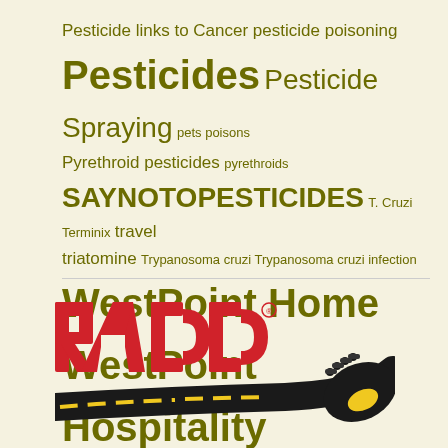Pesticide links to Cancer pesticide poisoning Pesticides Pesticide Spraying pets poisons Pyrethroid pesticides pyrethroids SAYNOTOPESTICIDES T. Cruzi Terminix travel triatomine Trypanosoma cruzi Trypanosoma cruzi infection WestPoint Home WestPoint Hospitality
[Figure (logo): RADD logo with bold red letters RADD with registered trademark symbol, and a graphic of a black road with yellow dashes merging into a guitar headstock]